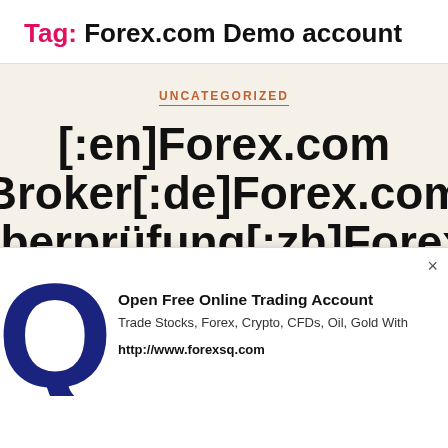Tag: Forex.com Demo account
UNCATEGORIZED
[:en]Forex.com Broker[:de]Forex.com Überprüfung[:zh]Forex.com三三[:es]Revisión
[Figure (infographic): Advertisement overlay showing a large dark blue Q logo letter on the left, with text 'Open Free Online Trading Account', 'Trade Stocks, Forex, Crypto, CFDs, Oil, Gold With', and 'http://www.forexsq.com', plus a close (×) button in the top right.]